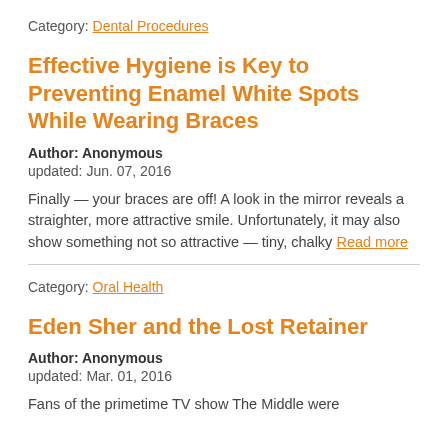Category: Dental Procedures
Effective Hygiene is Key to Preventing Enamel White Spots While Wearing Braces
Author: Anonymous
updated: Jun. 07, 2016
Finally — your braces are off! A look in the mirror reveals a straighter, more attractive smile. Unfortunately, it may also show something not so attractive — tiny, chalky Read more
Category: Oral Health
Eden Sher and the Lost Retainer
Author: Anonymous
updated: Mar. 01, 2016
Fans of the primetime TV show The Middle were